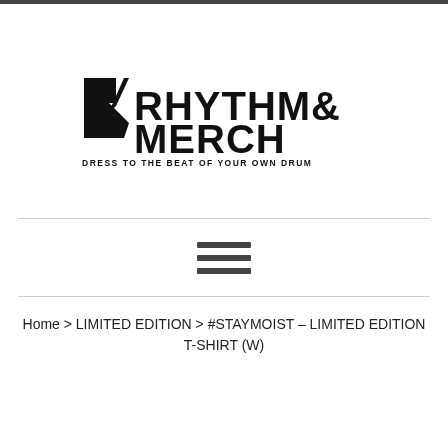[Figure (logo): Rhythm & Merch logo with tagline DRESS TO THE BEAT OF YOUR OWN DRUM]
Home › LIMITED EDITION › #STAYMOIST - LIMITED EDITION T-SHIRT (W)